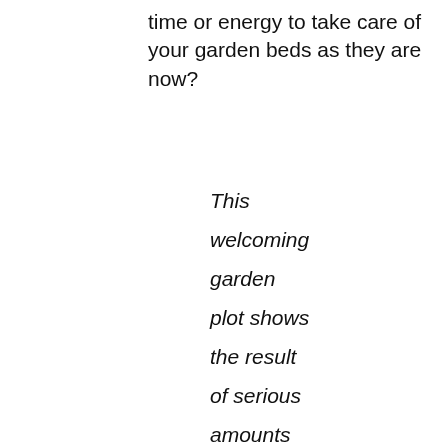time or energy to take care of your garden beds as they are now?
This welcoming garden plot shows the result of serious amounts of time and labor from the gardener.